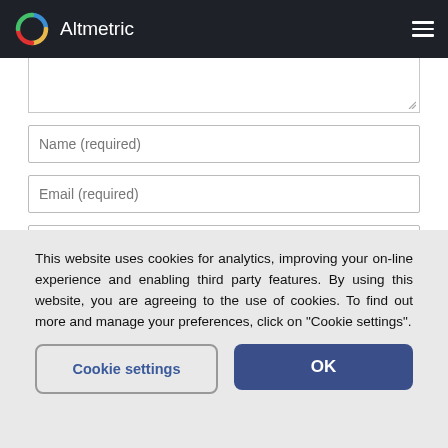Altmetric
[Figure (screenshot): Web form with textarea (partially visible), Name (required), Email (required), and Website input fields, and a Post Comment button]
This website uses cookies for analytics, improving your on-line experience and enabling third party features. By using this website, you are agreeing to the use of cookies. To find out more and manage your preferences, click on "Cookie settings".
Cookie settings | OK